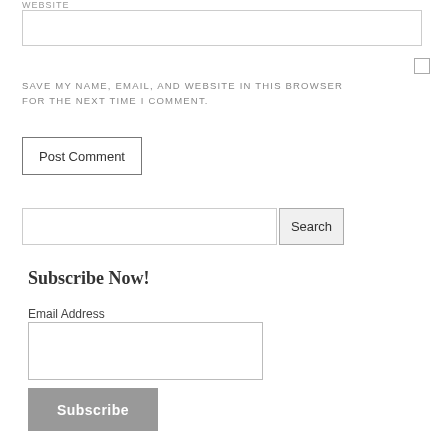WEBSITE
[Figure (other): Website text input field, empty]
[Figure (other): Checkbox, unchecked]
SAVE MY NAME, EMAIL, AND WEBSITE IN THIS BROWSER FOR THE NEXT TIME I COMMENT.
[Figure (other): Post Comment button]
[Figure (other): Search input field with Search button]
Subscribe Now!
Email Address
[Figure (other): Email Address input field, empty]
[Figure (other): Subscribe button]